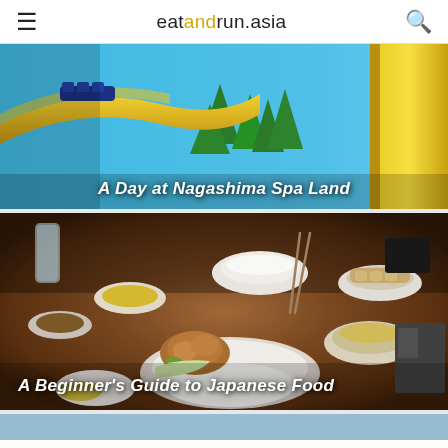eatandrun.asia
[Figure (photo): Rollercoaster ride at Nagashima Spa Land amusement park against a blue sky with trees and yellow track structure]
A Day at Nagashima Spa Land
[Figure (photo): Japanese meal spread on a wooden table with rice, gyoza, fried chicken karaage, miso soup, and various small dishes]
A Beginner's Guide to Japanese Food
[Figure (photo): Partial view of a third article card with light blue background]